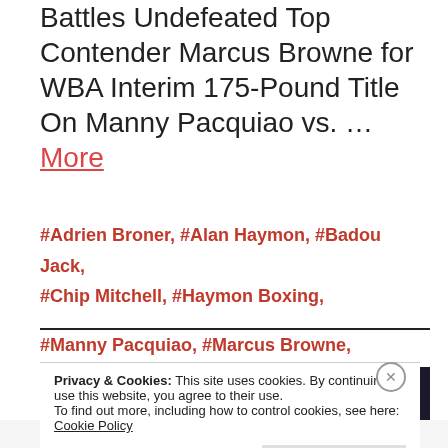Battles Undefeated Top Contender Marcus Browne for WBA Interim 175-Pound Title On Manny Pacquiao vs. … More
#Adrien Broner, #Alan Haymon, #Badou Jack, #Chip Mitchell, #Haymon Boxing,
#Manny Pacquiao, #Marcus Browne,
[Figure (photo): Premier Boxing Champions – World Welterweight Championship: PACQUIAO vs BRONER promotional banner with fighter portraits on dark background]
Privacy & Cookies: This site uses cookies. By continuing to use this website, you agree to their use.
To find out more, including how to control cookies, see here:
Cookie Policy
Close and accept